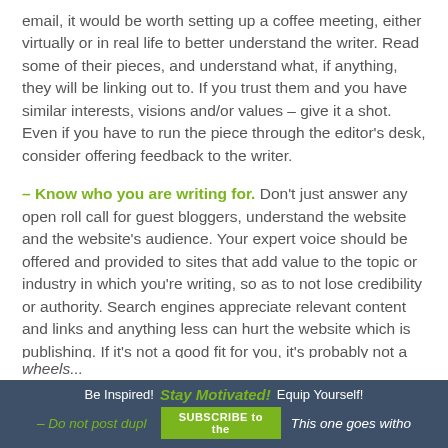email, it would be worth setting up a coffee meeting, either virtually or in real life to better understand the writer. Read some of their pieces, and understand what, if anything, they will be linking out to. If you trust them and you have similar interests, visions and/or values – give it a shot. Even if you have to run the piece through the editor's desk, consider offering feedback to the writer.
– Know who you are writing for. Don't just answer any open roll call for guest bloggers, understand the website and the website's audience. Your expert voice should be offered and provided to sites that add value to the topic or industry in which you're writing, so as to not lose credibility or authority. Search engines appreciate relevant content and links and anything less can hurt the website which is publishing. If it's not a good fit for you, it's probably not a good fit for them either. Don't spin your wheels...
Be Inspired!  Stay Motivated!  Equip Yourself!  SUBSCRIBE to the
– Do not post duplicate... This one goes without...